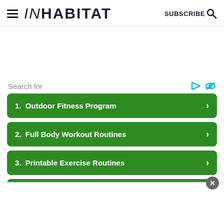INHABITAT | SUBSCRIBE
Search for
1. Outdoor Fitness Program
2. Full Body Workout Routines
3. Printable Exercise Routines
4. Easy Stretching Exercises